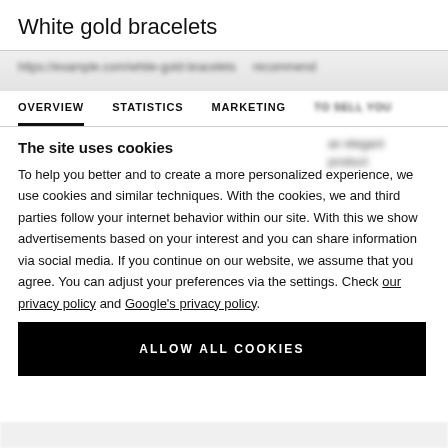White gold bracelets
OVERVIEW   STATISTICS   MARKETING
The site uses cookies
To help you better and to create a more personalized experience, we use cookies and similar techniques. With the cookies, we and third parties follow your internet behavior within our site. With this we show advertisements based on your interest and you can share information via social media. If you continue on our website, we assume that you agree. You can adjust your preferences via the settings. Check our privacy policy and Google's privacy policy.
ALLOW ALL COOKIES